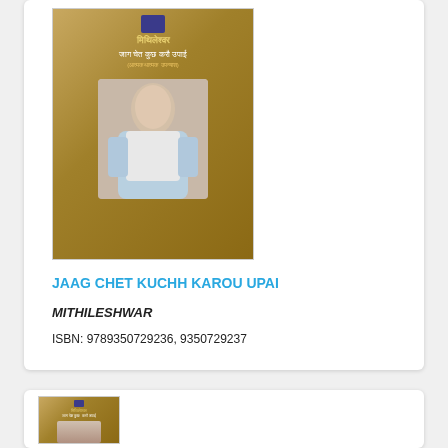[Figure (photo): Book cover of 'Jaag Chet Kuchh Karou Upai' by Mithileshwar showing a man in white kurta on a brown textured background with Hindi title text]
JAAG CHET KUCHH KAROU UPAI
MITHILESHWAR
ISBN: 9789350729236, 9350729237
[Figure (photo): Smaller version of the same book cover of 'Jaag Chet Kuchh Karou Upai' by Mithileshwar]